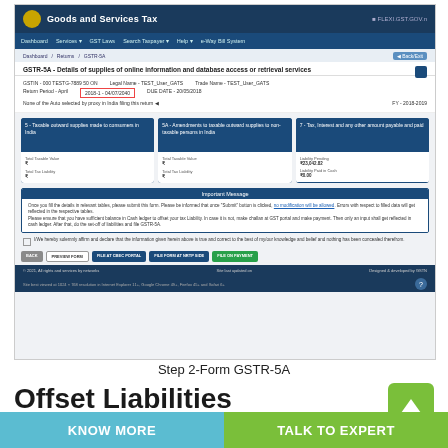[Figure (screenshot): Screenshot of Goods and Services Tax portal showing Form GSTR-5A - Details of supplies of online information and database access or retrieval services, with navigation bar, form fields, section cards for taxable outward supplies, amendments, and tax interest, an Important Message section, checkbox declaration, and action buttons including BACK, PREVIEW FORM, FILE AT CBEC PORTAL, FILE FORM AT NRTP SIDE, and FILE ON PAYMENT.]
Step 2-Form GSTR-5A
Offset Liabilities
If the taxpayer has not paid the liability of GSTR-5A through CBEC
KNOW MORE    TALK TO EXPERT